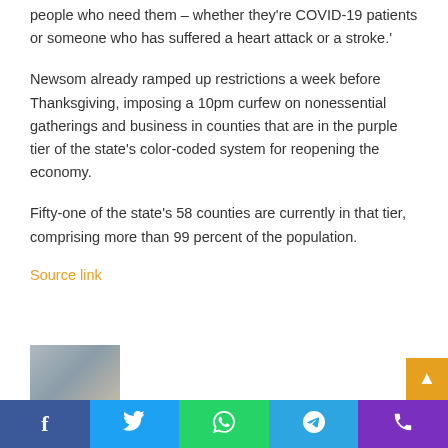people who need them – whether they're COVID-19 patients or someone who has suffered a heart attack or a stroke.'
Newsom already ramped up restrictions a week before Thanksgiving, imposing a 10pm curfew on nonessential gatherings and business in counties that are in the purple tier of the state's color-coded system for reopening the economy.
Fifty-one of the state's 58 counties are currently in that tier, comprising more than 99 percent of the population.
Source link
[Figure (photo): Partially visible image of a person at the bottom of the page]
Social sharing bar with Facebook, Twitter, WhatsApp, Telegram, and Phone icons